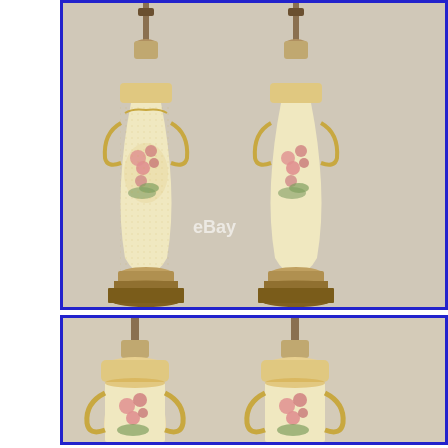[Figure (photo): Two antique porcelain table lamps with cream/ivory body, gold accents, ornate handles, and pink floral decoration painted on the vase-shaped bodies, sitting on brass/bronze decorative bases. Full view of both lamps side by side. eBay watermark visible.]
[Figure (photo): Close-up view of the same two antique porcelain table lamps showing upper detail: decorative gold collar/disk at top, ornate gold scroll handles, and pink floral clusters on cream background.]